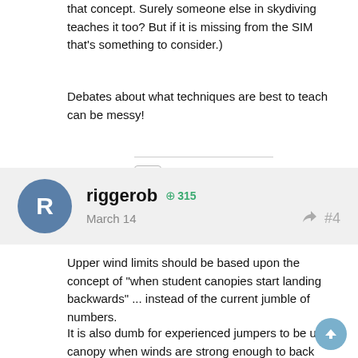that concept. Surely someone else in skydiving teaches it too? But if it is missing from the SIM that's something to consider.)
Debates about what techniques are best to teach can be messy!
riggerrob +315 March 14 #4
Upper wind limits should be based upon the concept of "when student canopies start landing backwards" ... instead of the current jumble of numbers.
It is also dumb for experienced jumpers to be under canopy when winds are strong enough to back them